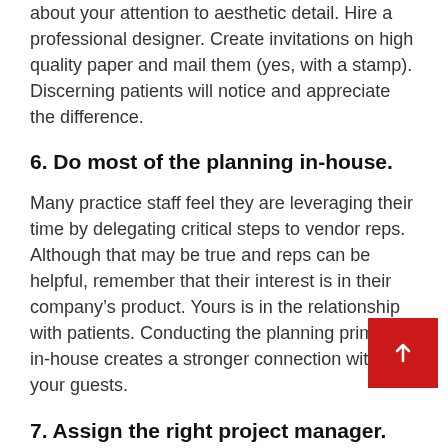about your attention to aesthetic detail. Hire a professional designer. Create invitations on high quality paper and mail them (yes, with a stamp). Discerning patients will notice and appreciate the difference.
6. Do most of the planning in-house.
Many practice staff feel they are leveraging their time by delegating critical steps to vendor reps. Although that may be true and reps can be helpful, remember that their interest is in their company’s product. Yours is in the relationship with patients. Conducting the planning primarily in-house creates a stronger connection with your guests.
7. Assign the right project manager.
If your manager doesn’t delegate well and is